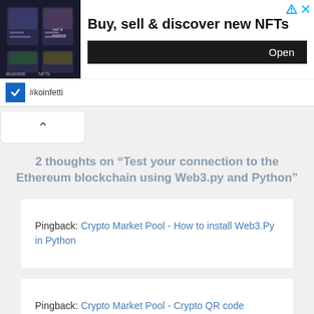[Figure (screenshot): Ad banner for koinfetti NFT app showing dark preview image, headline 'Buy, sell & discover new NFTs', Open button, and #koinfetti brand label]
2 thoughts on “Test your connection to the Ethereum blockchain using Web3.py and Python”
Pingback: Crypto Market Pool - How to install Web3.Py in Python
Pingback: Crypto Market Pool - Crypto QR code generator in Python